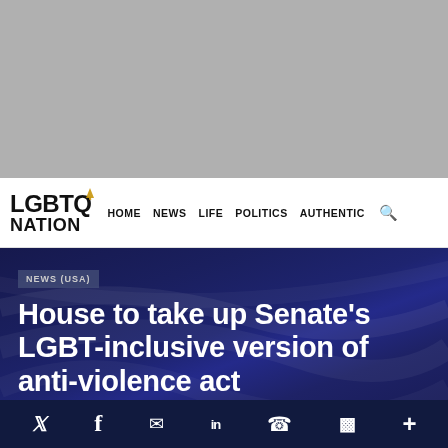[Figure (other): Gray placeholder banner at top of page]
LGBTQ NATION | HOME | NEWS | LIFE | POLITICS | AUTHENTIC
NEWS (USA)
House to take up Senate's LGBT-inclusive version of anti-violence act
Social sharing bar: Twitter, Facebook, Email, LinkedIn, WhatsApp, Flipboard, More